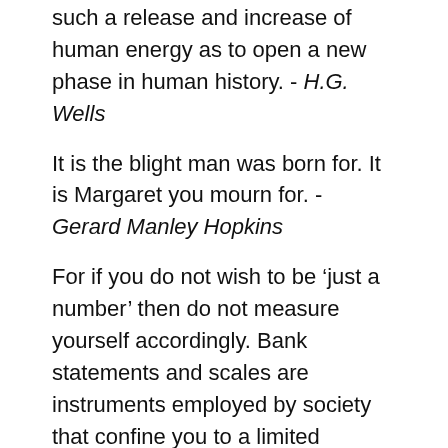such a release and increase of human energy as to open a new phase in human history. - H.G. Wells
It is the blight man was born for. It is Margaret you mourn for. - Gerard Manley Hopkins
For if you do not wish to be ‘just a number’ then do not measure yourself accordingly. Bank statements and scales are instruments employed by society that confine you to a limited summation of yourself – born is the human void. - Nicole Bonomi
Let me nurture my wings, for I was born to